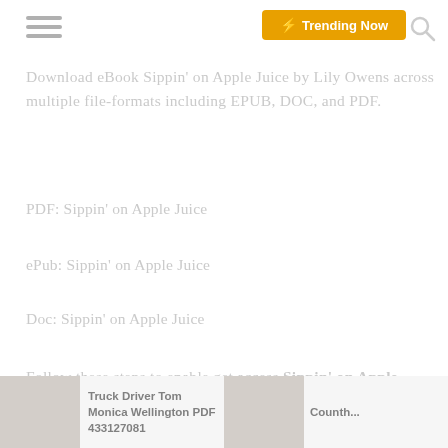Trending Now
Download eBook Sippin' on Apple Juice by Lily Owens across multiple file-formats including EPUB, DOC, and PDF.
PDF: Sippin’ on Apple Juice
ePub: Sippin’ on Apple Juice
Doc: Sippin’ on Apple Juice
Follow these steps to enable get access Sippin’ on Apple Juice:
⬇ Download: Sippin’ on Apple Juice PDF
Truck Driver Tom Monica Wellington PDF 433127081
Counth...